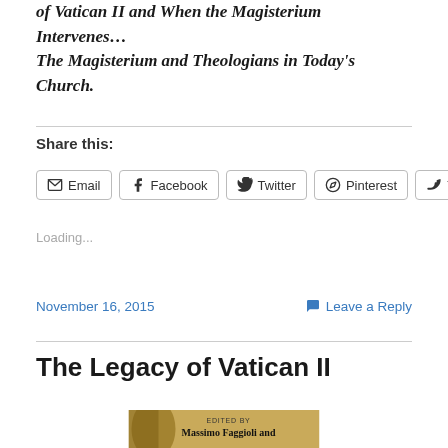of Vatican II and When the Magisterium Intervenes… The Magisterium and Theologians in Today's Church.
Share this:
Email
Facebook
Twitter
Pinterest
Tumblr
Loading...
November 16, 2015
Leave a Reply
The Legacy of Vatican II
[Figure (photo): Book cover of 'The Legacy of Vatican II', edited by Massimo Faggioli and another editor. The cover is golden/tan colored with the text 'EDITED BY Massimo Faggioli and' visible.]